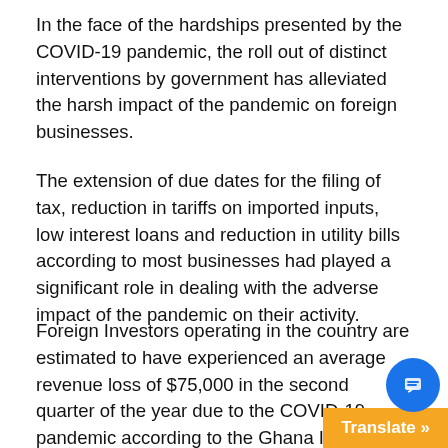In the face of the hardships presented by the COVID-19 pandemic, the roll out of distinct interventions by government has alleviated the harsh impact of the pandemic on foreign businesses.
The extension of due dates for the filing of tax, reduction in tariffs on imported inputs, low interest loans and reduction in utility bills according to most businesses had played a significant role in dealing with the adverse impact of the pandemic on their activity.
Foreign Investors operating in the country are estimated to have experienced an average revenue loss of $75,000 in the second quarter of the year due to the COVID-19 pandemic according to the Ghana Investment Promotion Centre's recent “Survey on the Impact of Coronavirus (COVID-19) on Foreign Investors in G… conducted between April 1-June 12, 202…